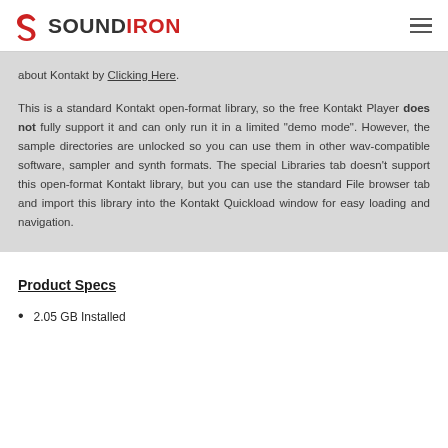SOUNDIRON
about Kontakt by Clicking Here.
This is a standard Kontakt open-format library, so the free Kontakt Player does not fully support it and can only run it in a limited "demo mode". However, the sample directories are unlocked so you can use them in other wav-compatible software, sampler and synth formats. The special Libraries tab doesn't support this open-format Kontakt library, but you can use the standard File browser tab and import this library into the Kontakt Quickload window for easy loading and navigation.
Product Specs
2.05 GB Installed